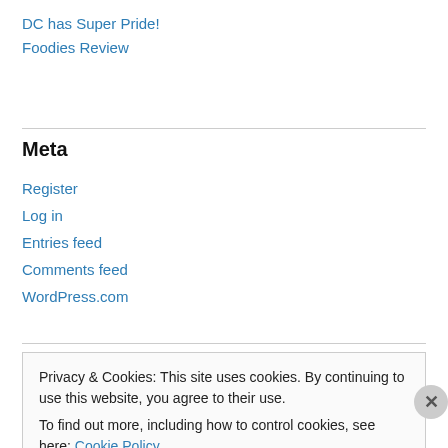DC has Super Pride!
Foodies Review
Meta
Register
Log in
Entries feed
Comments feed
WordPress.com
Privacy & Cookies: This site uses cookies. By continuing to use this website, you agree to their use.
To find out more, including how to control cookies, see here: Cookie Policy
Close and accept